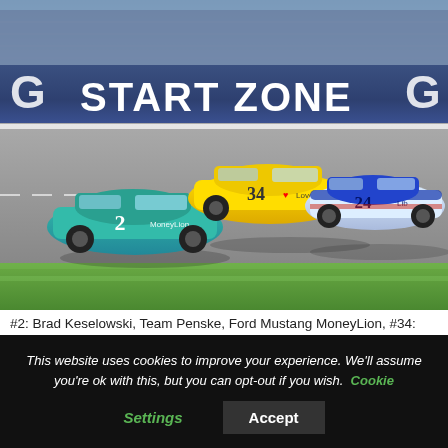[Figure (photo): NASCAR race photo showing three stock cars on a track near the Start Zone. Car #2 Brad Keselowski (teal MoneyLion Ford Mustang), Car #34 Michael McDowell (yellow Love's Ford Mustang), and Car #24 William Byron (blue/white/red Liberty University Chevrolet Camaro) racing side by side.]
#2: Brad Keselowski, Team Penske, Ford Mustang MoneyLion, #34: Michael McDowell, Front Row Motorsports, Ford Mustang Love's Travel Stops, #24: William Byron, Hendrick Motorsports, Chevrolet Camaro Liberty University
How are NASCAR engines constructed?
This website uses cookies to improve your experience. We'll assume you're ok with this, but you can opt-out if you wish. Cookie Settings Accept